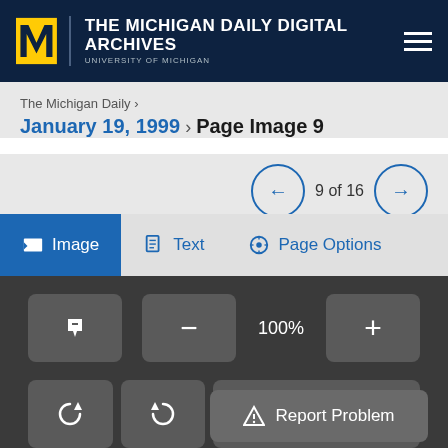THE MICHIGAN DAILY DIGITAL ARCHIVES — UNIVERSITY OF MICHIGAN
The Michigan Daily ›
January 19, 1999 › Page Image 9
9 of 16
Image   Text   Page Options
100%
Select
Report Problem